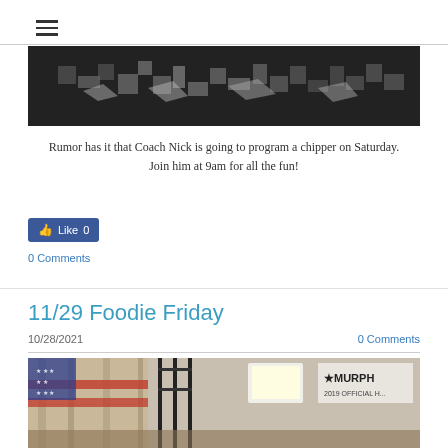[Figure (photo): Dark textured surface with pixelated light-colored geometric shapes (glitter/mosaic pattern on dark background)]
Rumor has it that Coach Nick is going to program a chipper on Saturday.
Join him at 9am for all the fun!
[Figure (other): Facebook Like button showing thumbs up icon and count of 0]
0 Comments
11/29 Foodie Friday
10/28/2021   0 Comments
[Figure (photo): Interior gym/CrossFit box photo showing equipment, an American flag, and a MURPH sign]